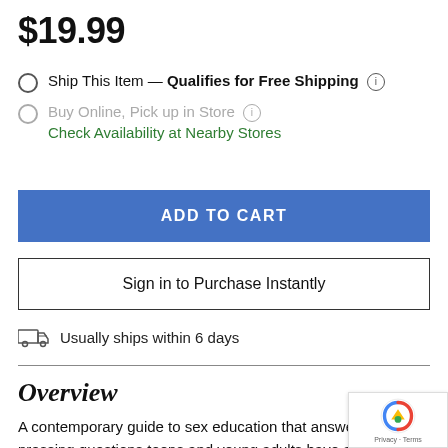$19.99
Ship This Item — Qualifies for Free Shipping (i)
Buy Online, Pick up in Store (i)
Check Availability at Nearby Stores
ADD TO CART
Sign in to Purchase Instantly
Usually ships within 6 days
Overview
A contemporary guide to sex education that answers the pressing questions teens and young adults have about da...